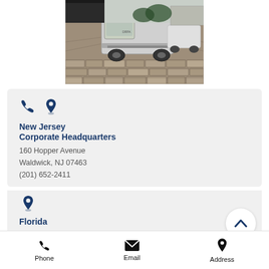[Figure (photo): A white pickup truck parked on a cobblestone surface, with another vehicle visible in the background.]
New Jersey
Corporate Headquarters
160 Hopper Avenue
Waldwick, NJ 07463
(201) 652-2411
Florida
213 SE 2nd Avenue
Delray Beach, FL 33483
Phone   Email   Address